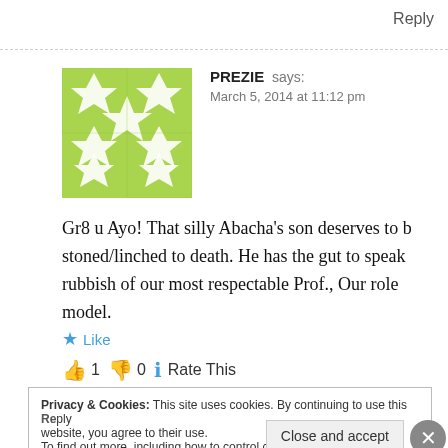Reply
PREZIE says:
March 5, 2014 at 11:12 pm
[Figure (illustration): Green and white geometric avatar with star/diamond pattern]
Gr8 u Ayo! That silly Abacha's son deserves to b stoned/linched to death. He has the gut to speak rubbish of our most respectable Prof., Our role model.
Like
👍 1 👎 0 ℹ Rate This
Privacy & Cookies: This site uses cookies. By continuing to use this website, you agree to their use.
To find out more, including how to control cookies, see here: Cookie Policy
Close and accept